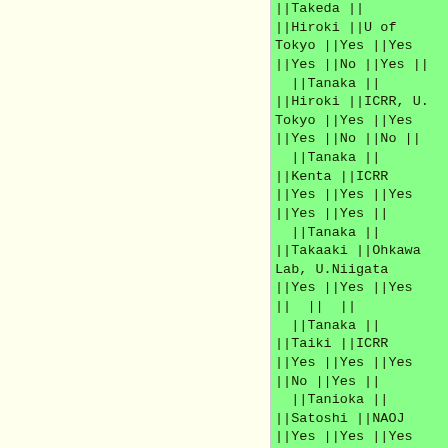| Last | First | Affiliation | Col1 | Col2 | Col3 | Col4 | Col5 |
| --- | --- | --- | --- | --- | --- | --- | --- |
| Takeda |  |  |  |  |  |  |  |
| Tanaka | Hiroki | U of Tokyo | Yes | Yes | Yes | No | Yes |
| Tanaka | Hiroki | ICRR, U. Tokyo | Yes | Yes | Yes | No | No |
| Tanaka | Kenta | ICRR | Yes | Yes | Yes | Yes | Yes |
| Tanaka | Takaaki | Ohkawa Lab, U.Niigata | Yes | Yes | Yes |  |  |
| Tanaka | Taiki | ICRR | Yes | Yes | Yes | No | Yes |
| Tanioka | Satoshi | NAOJ | Yes | Yes | Yes | Yes | Yes |